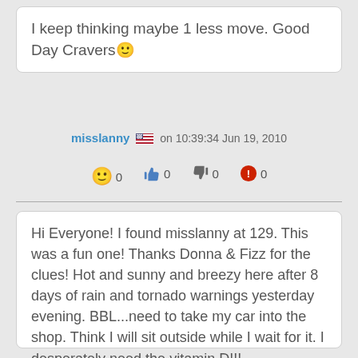I keep thinking maybe 1 less move. Good Day Cravers 🙂
misslanny 🇺🇸 on 10:39:34 Jun 19, 2010
🙂 0  👍 0  👎 0  🚨 0
Hi Everyone! I found misslanny at 129. This was a fun one! Thanks Donna & Fizz for the clues! Hot and sunny and breezy here after 8 days of rain and tornado warnings yesterday evening. BBL...need to take my car into the shop. Think I will sit outside while I wait for it. I desperately need the vitamin D!!!